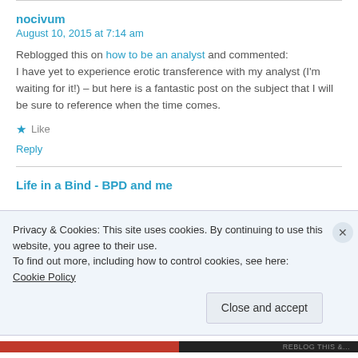nocivum
August 10, 2015 at 7:14 am
Reblogged this on how to be an analyst and commented: I have yet to experience erotic transference with my analyst (I'm waiting for it!) – but here is a fantastic post on the subject that I will be sure to reference when the time comes.
★ Like
Reply
Life in a Bind - BPD and me
Privacy & Cookies: This site uses cookies. By continuing to use this website, you agree to their use.
To find out more, including how to control cookies, see here: Cookie Policy
Close and accept